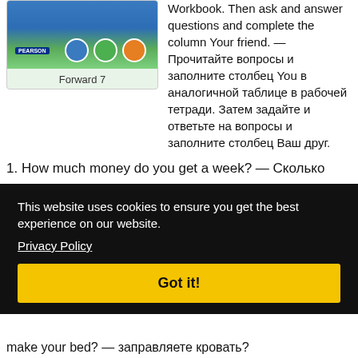[Figure (illustration): Book cover for 'Forward 7' by Pearson showing a boat with cartoon avatars on a blue/green background]
Forward 7
Workbook. Then ask and answer questions and complete the column Your friend. — Прочитайте вопросы и заполните столбец You в аналогичной таблице в рабочей тетради. Затем задайте и ответьте на вопросы и заполните столбец Ваш друг.
1. How much money do you get a week? — Сколько
This website uses cookies to ensure you get the best experience on our website.
Privacy Policy
Got it!
make your bed? — заправляете кровать?